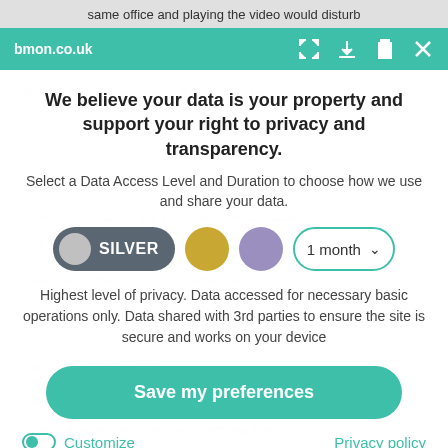same office and playing the video would disturb
bmon.co.uk
which most people forget is that it's not the video...
We believe your data is your property and support your right to privacy and transparency.
Select a Data Access Level and Duration to choose how we use and share your data.
[Figure (screenshot): Privacy consent UI with SILVER toggle selected, gold circle, purple circle, and 1 month dropdown]
Highest level of privacy. Data accessed for necessary basic operations only. Data shared with 3rd parties to ensure the site is secure and works on your device
Save my preferences
Customize
Privacy policy